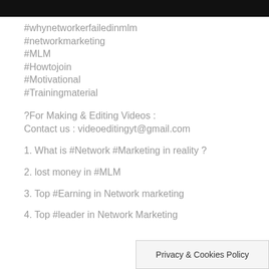[Figure (other): Black header bar at the top of the page]
#whynetworkerfailedinmlm
#networkmarketing
#MLM
#Howtojoin
#Motivational
#Trainingmaterial
?For Making & Editing Videos :
Contact us : videoeditingyt@gmail.com
1. What is #Network #Marketing in reality ?
2. lost money in #MLM
3. Top #Earning in Network marketing
4. Top #leader in Network Marketing
Privacy & Cookies Policy